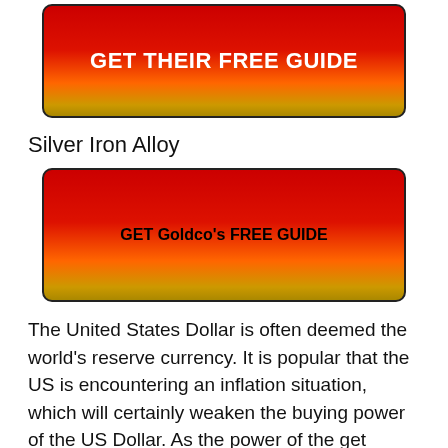[Figure (other): Red button with gold gradient bottom reading GET THEIR FREE GUIDE]
Silver Iron Alloy
[Figure (other): Red button with gold gradient bottom reading GET Goldco's FREE GUIDE]
The United States Dollar is often deemed the world’s reserve currency. It is popular that the US is encountering an inflation situation, which will certainly weaken the buying power of the US Dollar. As the power of the get currency lowers, people not simply in the United States, yet around the world, are